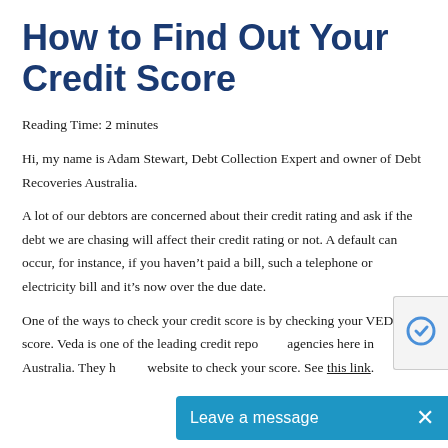How to Find Out Your Credit Score
Reading Time: 2 minutes
Hi, my name is Adam Stewart, Debt Collection Expert and owner of Debt Recoveries Australia.
A lot of our debtors are concerned about their credit rating and ask if the debt we are chasing will affect their credit rating or not. A default can occur, for instance, if you haven’t paid a bill, such a telephone or electricity bill and it’s now over the due date.
One of the ways to check your credit score is by checking your VEDA score. Veda is one of the leading credit reporting agencies here in Australia. They have a website to check your score. See this link.
[Figure (other): reCAPTCHA badge partially visible at right edge]
[Figure (other): Blue chat widget overlay with text 'Leave a message' and close button X]